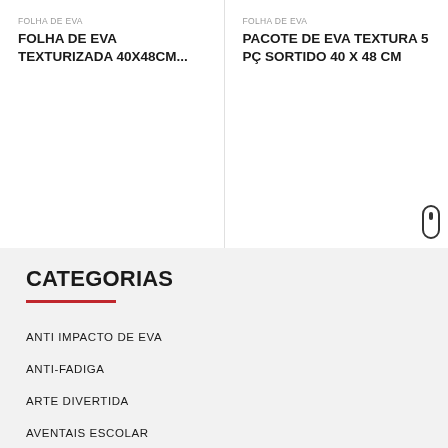FOLHA DE EVA
FOLHA DE EVA TEXTURIZADA 40X48CM...
FOLHA DE EVA
PACOTE DE EVA TEXTURA 5 PÇ SORTIDO 40 X 48 CM
CATEGORIAS
ANTI IMPACTO DE EVA
ANTI-FADIGA
ARTE DIVERTIDA
AVENTAIS ESCOLAR